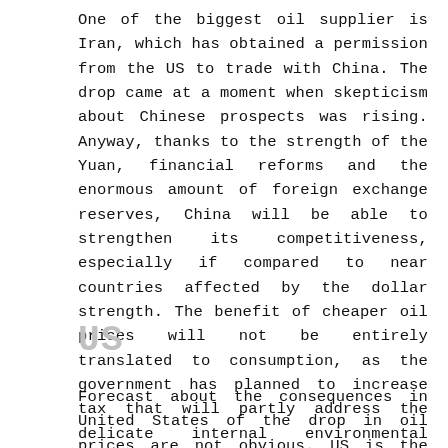One of the biggest oil supplier is Iran, which has obtained a permission from the US to trade with China. The drop came at a moment when skepticism about Chinese prospects was rising. Anyway, thanks to the strength of the Yuan, financial reforms and the enormous amount of foreign exchange reserves, China will be able to strengthen its competitiveness, especially if compared to near countries affected by the dollar strength. The benefit of cheaper oil prices will not be entirely translated to consumption, as the government has planned to increase tax that will partly address the delicate internal environmental issue.
US
Forecast about the consequences in United States of the drop in oil prices are not obvious. US is the third